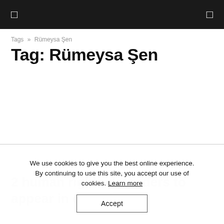[ ] navigation bar with menu icon and search icon
Tags » Rümeysa Şen
Tag: Rümeysa Şen
2 human rights defenders to appear in court for a...
We use cookies to give you the best online experience. By continuing to use this site, you accept our use of cookies. Learn more
Accept